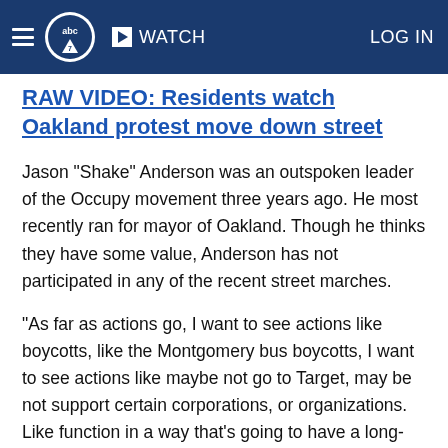abc7 WATCH LOG IN
RAW VIDEO: Residents watch Oakland protest move down street
Jason "Shake" Anderson was an outspoken leader of the Occupy movement three years ago. He most recently ran for mayor of Oakland. Though he thinks they have some value, Anderson has not participated in any of the recent street marches.
"As far as actions go, I want to see actions like boycotts, like the Montgomery bus boycotts, I want to see actions like maybe not go to Target, may be not support certain corporations, or organizations. Like function in a way that's going to have a long-term, sustainable movement that's going to affect the